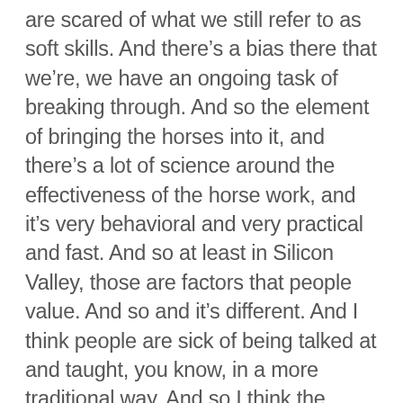are scared of what we still refer to as soft skills. And there's a bias there that we're, we have an ongoing task of breaking through. And so the element of bringing the horses into it, and there's a lot of science around the effectiveness of the horse work, and it's very behavioral and very practical and fast. And so at least in Silicon Valley, those are factors that people value. And so and it's different. And I think people are sick of being talked at and taught, you know, in a more traditional way. And so I think the experiential component and especially right now where we've really seen how nature and being outdoors and animals, how much we've relied on those elements of our lives when we've been sheltered in place.